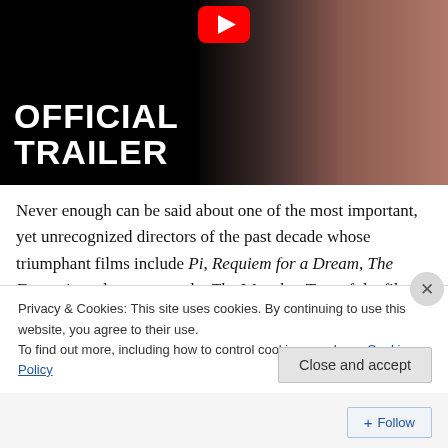[Figure (screenshot): YouTube video thumbnail showing 'OFFICIAL TRAILER' text in white bold font over a dark background with a close-up of a woman's face and a YouTube logo/play button at top center]
Never enough can be said about one of the most important, yet unrecognized directors of the past decade whose triumphant films include Pi, Requiem for a Dream, The Fountain and most recently, The Wrestler. Two of the films are highly ranked in IMDB's top 250 films of all time and find themselves frequently on best of the decade list.
Privacy & Cookies: This site uses cookies. By continuing to use this website, you agree to their use.
To find out more, including how to control cookies, see here: Cookie Policy
Close and accept